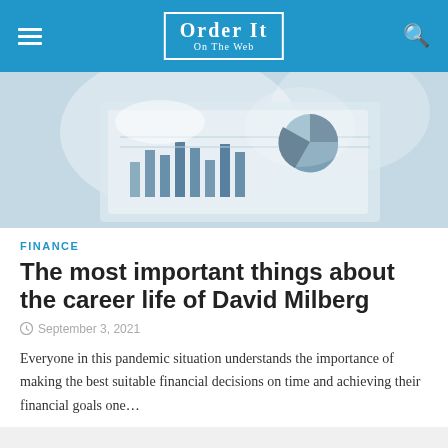Order It On The Web
[Figure (photo): Financial charts and graphs documents on a desk, top-down view with soft blue-grey tones showing pie charts and bar graphs on paper]
FINANCE
The most important things about the career life of David Milberg
September 3, 2021
Everyone in this pandemic situation understands the importance of making the best suitable financial decisions on time and achieving their financial goals one…